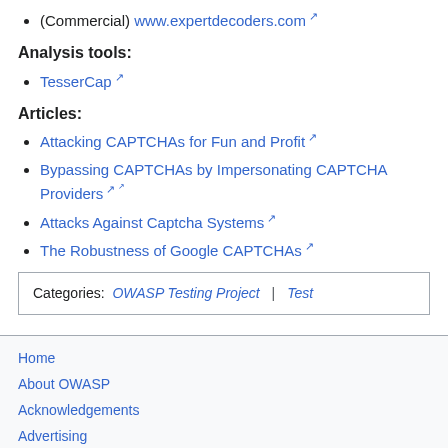(Commercial) www.expertdecoders.com
Analysis tools:
TesserCap
Articles:
Attacking CAPTCHAs for Fun and Profit
Bypassing CAPTCHAs by Impersonating CAPTCHA Providers
Attacks Against Captcha Systems
The Robustness of Google CAPTCHAs
Categories: OWASP Testing Project | Test
Home
About OWASP
Acknowledgements
Advertising
Books
Brand Resources
Careers